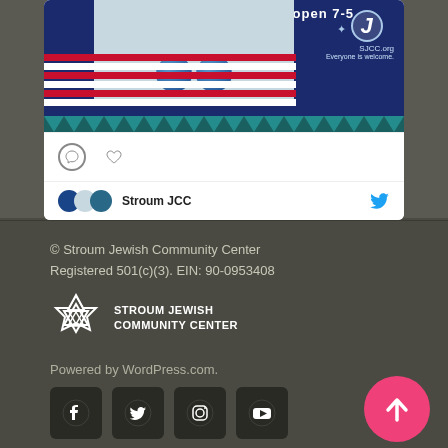[Figure (screenshot): Social media card showing SJCC promotional banner with fitness image, blue exercise balls, American-flag stripes, SJCC logo, comment and heart icons, and a Twitter/Stroum JCC bar at bottom]
© Stroum Jewish Community Center
Registered 501(c)(3). EIN: 90-0953408
[Figure (logo): Stroum Jewish Community Center logo with Star of David]
Powered by WordPress.com.
[Figure (infographic): Social media icon buttons: Facebook, Twitter, Instagram, YouTube]